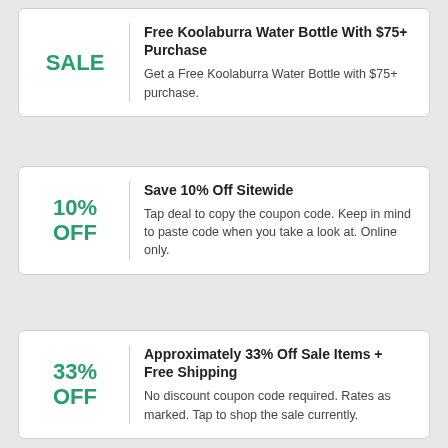Free Koolaburra Water Bottle With $75+ Purchase
Get a Free Koolaburra Water Bottle with $75+ purchase.
Save 10% Off Sitewide
Tap deal to copy the coupon code. Keep in mind to paste code when you take a look at. Online only.
Approximately 33% Off Sale Items + Free Shipping
No discount coupon code required. Rates as marked. Tap to shop the sale currently.